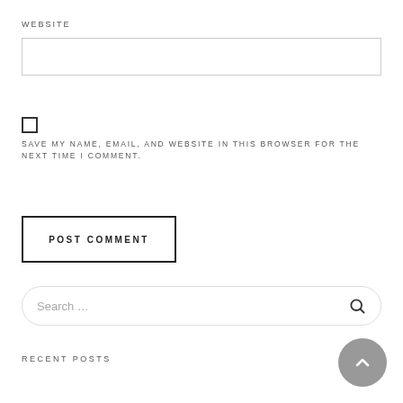WEBSITE
[Figure (other): Empty text input box for website URL]
SAVE MY NAME, EMAIL, AND WEBSITE IN THIS BROWSER FOR THE NEXT TIME I COMMENT.
POST COMMENT
Search ...
RECENT POSTS